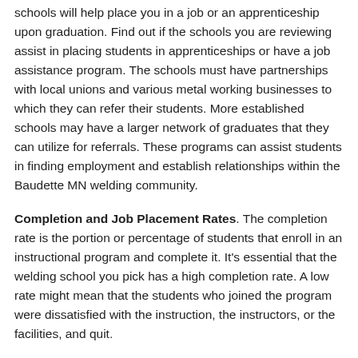schools will help place you in a job or an apprenticeship upon graduation. Find out if the schools you are reviewing assist in placing students in apprenticeships or have a job assistance program. The schools must have partnerships with local unions and various metal working businesses to which they can refer their students. More established schools may have a larger network of graduates that they can utilize for referrals. These programs can assist students in finding employment and establish relationships within the Baudette MN welding community.
Completion and Job Placement Rates. The completion rate is the portion or percentage of students that enroll in an instructional program and complete it. It's essential that the welding school you pick has a high completion rate. A low rate might mean that the students who joined the program were dissatisfied with the instruction, the instructors, or the facilities, and quit.